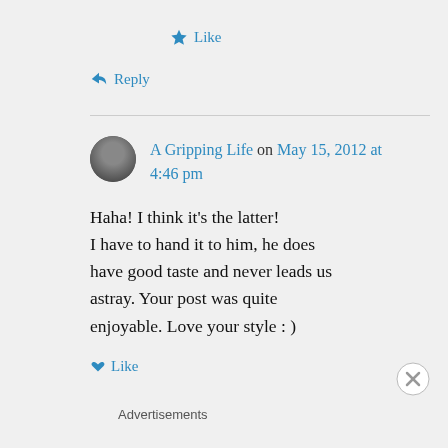★ Like
↪ Reply
A Gripping Life on May 15, 2012 at 4:46 pm
Haha! I think it's the latter! I have to hand it to him, he does have good taste and never leads us astray. Your post was quite enjoyable. Love your style : )
↓ Like
Advertisements